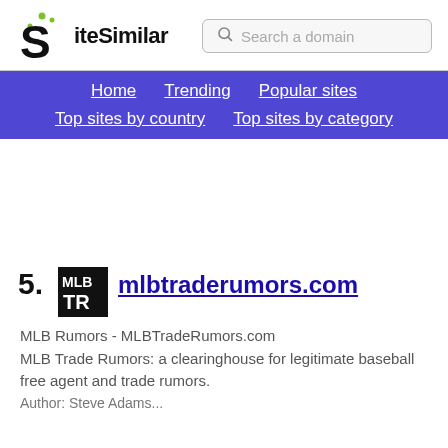SiteSimilar — Search a domain — Home | Trending | Popular sites | Top sites by country | Top sites by category
5. mlbtraderumors.com — MLB Rumors - MLBTradeRumors.com MLB Trade Rumors: a clearinghouse for legitimate baseball free agent and trade rumors. Author: Steve Adams...